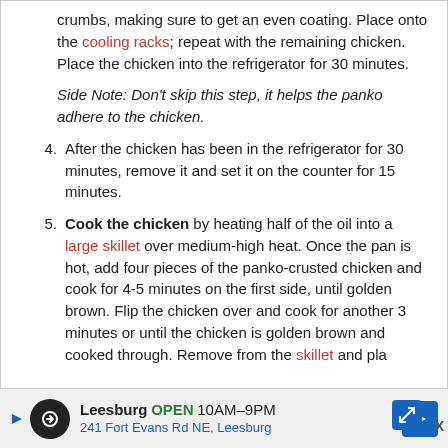crumbs, making sure to get an even coating. Place onto the cooling racks; repeat with the remaining chicken. Place the chicken into the refrigerator for 30 minutes.
Side Note: Don't skip this step, it helps the panko adhere to the chicken.
4. After the chicken has been in the refrigerator for 30 minutes, remove it and set it on the counter for 15 minutes.
5. Cook the chicken by heating half of the oil into a large skillet over medium-high heat. Once the pan is hot, add four pieces of the panko-crusted chicken and cook for 4-5 minutes on the first side, until golden brown. Flip the chicken over and cook for another 3 minutes or until the chicken is golden brown and cooked through. Remove from the skillet and pla…
Leesburg OPEN 10AM–9PM 241 Fort Evans Rd NE, Leesburg